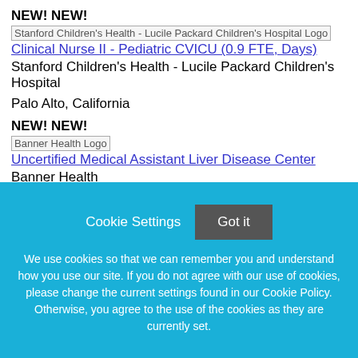NEW! NEW!
[Figure (logo): Stanford Children's Health - Lucile Packard Children's Hospital Logo]
Clinical Nurse II - Pediatric CVICU (0.9 FTE, Days)
Stanford Children's Health - Lucile Packard Children's Hospital
Palo Alto, California
NEW! NEW!
[Figure (logo): Banner Health Logo]
Uncertified Medical Assistant Liver Disease Center
Banner Health
Phoenix, Arizona
Cookie Settings
Got it
We use cookies so that we can remember you and understand how you use our site. If you do not agree with our use of cookies, please change the current settings found in our Cookie Policy. Otherwise, you agree to the use of the cookies as they are currently set.